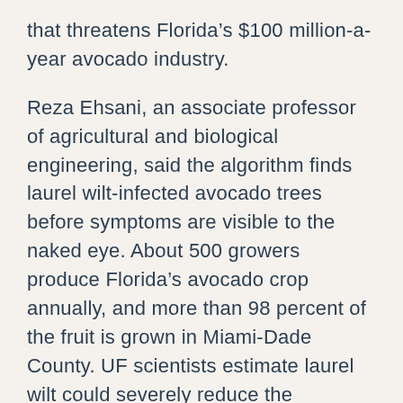that threatens Florida’s $100 million-a-year avocado industry.
Reza Ehsani, an associate professor of agricultural and biological engineering, said the algorithm finds laurel wilt-infected avocado trees before symptoms are visible to the naked eye. About 500 growers produce Florida’s avocado crop annually, and more than 98 percent of the fruit is grown in Miami-Dade County. UF scientists estimate laurel wilt could severely reduce the commercial avocado industry if they don’t find control strategies for the pathogen and ambrosia beetles.
UF scientists also have...